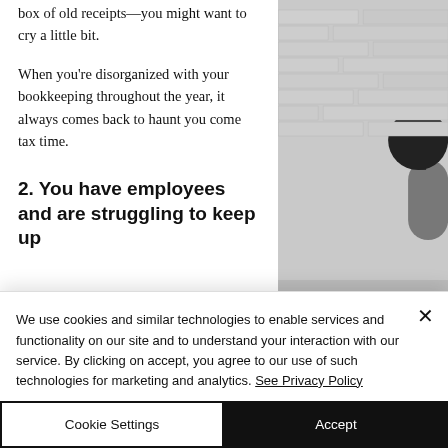box of old receipts—you might want to cry a little bit.
When you're disorganized with your bookkeeping throughout the year, it always comes back to haunt you come tax time.
2. You have employees and are struggling to keep up
[Figure (photo): Partial photo of a person against a white brick wall with a dark lamp visible on the right side.]
We use cookies and similar technologies to enable services and functionality on our site and to understand your interaction with our service. By clicking on accept, you agree to our use of such technologies for marketing and analytics. See Privacy Policy